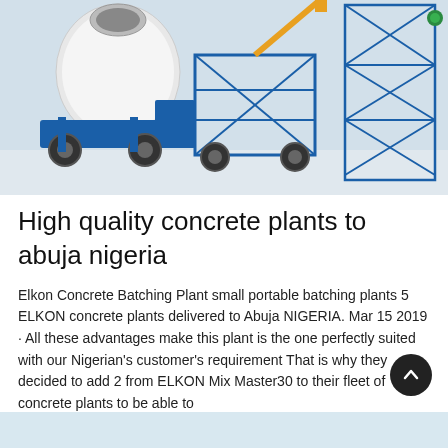[Figure (photo): Photo of blue concrete batching plant equipment including a mixer truck and a tall blue steel support frame/tower, shown against a light grey/white background.]
High quality concrete plants to abuja nigeria
Elkon Concrete Batching Plant small portable batching plants 5 ELKON concrete plants delivered to Abuja NIGERIA. Mar 15 2019 · All these advantages make this plant is the one perfectly suited with our Nigerian's customer's requirement That is why they decided to add 2 from ELKON Mix Master30 to their fleet of concrete plants to be able to
Learn More